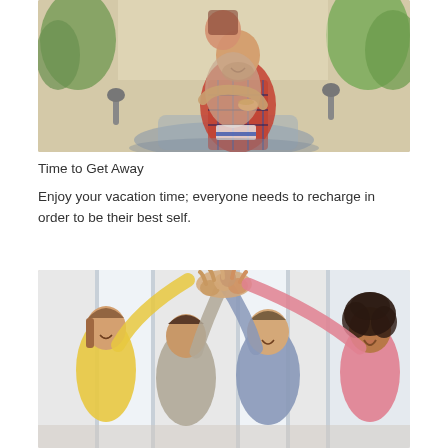[Figure (photo): A couple on a scooter/moped outdoors. A man in a plaid shirt is driving while a woman hugs him from behind. Trees are visible in the background.]
Time to Get Away
Enjoy your vacation time; everyone needs to recharge in order to be their best self.
[Figure (photo): Four diverse young people in an office or bright interior setting, smiling and giving a group high-five with their hands raised together in the center.]